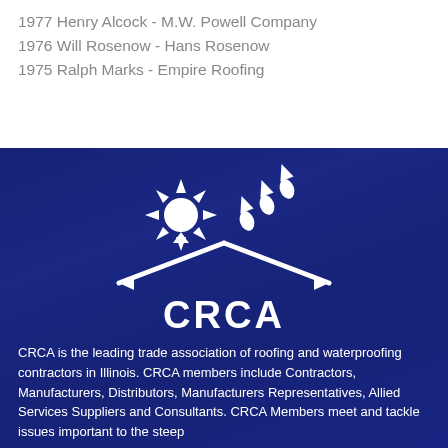1977 Henry Alcock - M.W. Powell Company
1976 Will Rosenow  - Hans Rosenow
1975 Ralph Marks - Empire Roofing
[Figure (logo): CRCA logo: white icon of a roof/house shape with sun and raindrops above, and the text CRCA below the roof outline, on a dark blue background]
CRCA is the leading trade association of roofing and waterproofing contractors in Illinois. CRCA members include Contractors, Manufacturers, Distributors, Manufacturers Representatives, Allied Services Suppliers and Consultants. CRCA Members meet and tackle issues important to the steep